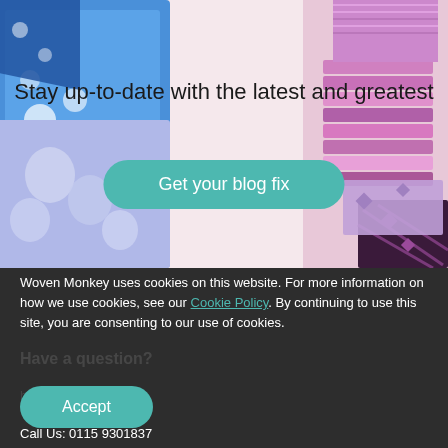[Figure (photo): Hero banner with fabric swatches on left (blue patterned fabrics) and right (purple/pink patterned fabrics) against a light pink background]
Stay up-to-date with the latest and greatest
Get your blog fix
Woven Monkey uses cookies on this website. For more information on how we use cookies, see our Cookie Policy. By continuing to use this site, you are consenting to our use of cookies.
Accept
Call Us: 0115 9301837